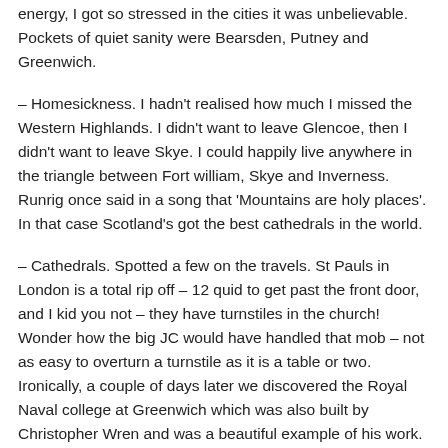energy, I got so stressed in the cities it was unbelievable. Pockets of quiet sanity were Bearsden, Putney and Greenwich.
– Homesickness. I hadn't realised how much I missed the Western Highlands. I didn't want to leave Glencoe, then I didn't want to leave Skye. I could happily live anywhere in the triangle between Fort william, Skye and Inverness. Runrig once said in a song that 'Mountains are holy places'. In that case Scotland's got the best cathedrals in the world.
– Cathedrals. Spotted a few on the travels. St Pauls in London is a total rip off – 12 quid to get past the front door, and I kid you not – they have turnstiles in the church! Wonder how the big JC would have handled that mob – not as easy to overturn a turnstile as it is a table or two. Ironically, a couple of days later we discovered the Royal Naval college at Greenwich which was also built by Christopher Wren and was a beautiful example of his work. Oh and they didn't rob you on the way in, either.